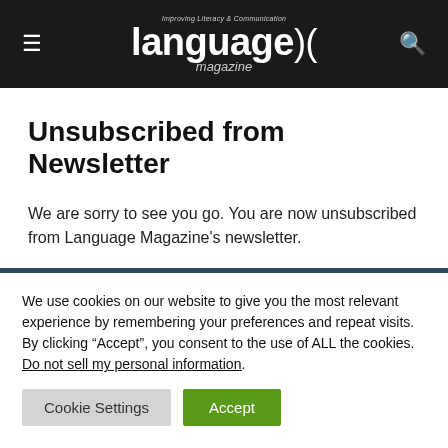language magazine — Improving Literacy & Communication
Unsubscribed from Newsletter
We are sorry to see you go. You are now unsubscribed from Language Magazine's newsletter.
We use cookies on our website to give you the most relevant experience by remembering your preferences and repeat visits. By clicking “Accept”, you consent to the use of ALL the cookies. Do not sell my personal information.